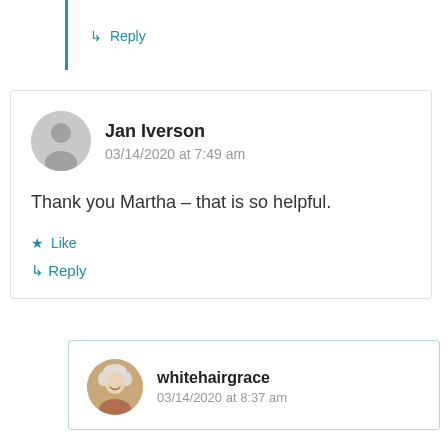↳ Reply
Jan Iverson
03/14/2020 at 7:49 am

Thank you Martha – that is so helpful.

★ Like
↳ Reply
whitehairgrace
03/14/2020 at 8:37 am